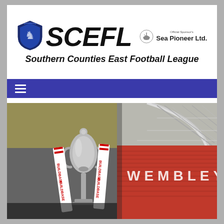[Figure (logo): SCEFL Southern Counties East Football League logo with shield emblem and Sea Pioneer Ltd. official sponsor]
[Figure (other): Hamburger menu icon (three horizontal white lines) on dark blue/purple navigation bar]
[Figure (photo): Football trophy with BUILDBASE branded ribbons/scarves in foreground, Wembley Stadium interior with red seats in background]